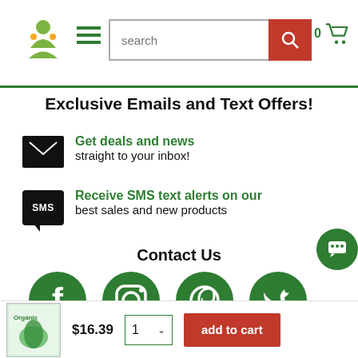Navigation header with logo, menu, search bar, and cart
Exclusive Emails and Text Offers!
Get deals and news straight to your inbox!
Receive SMS text alerts on our best sales and new products
Contact Us
[Figure (infographic): Social media icons: Facebook, Instagram, Pinterest, Twitter — green circles with white icons]
[Figure (screenshot): Bottom bar with product image, price $16.39, quantity selector '1', and orange 'add to cart' button]